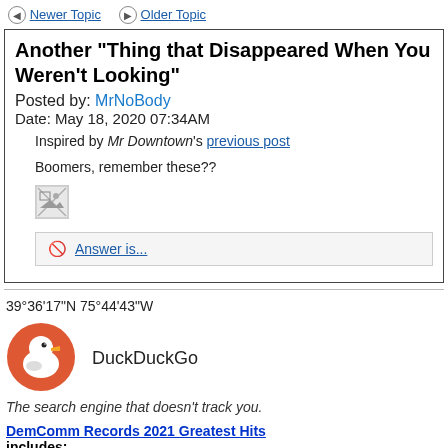Newer Topic   Older Topic
Another "Thing that Disappeared When You Weren't Looking"
Posted by: MrNoBody
Date: May 18, 2020 07:34AM
Inspired by Mr Downtown's previous post
Boomers, remember these??
[Figure (photo): Broken/missing image placeholder]
Answer is...
39°36'17"N 75°44'43"W
[Figure (logo): DuckDuckGo logo - orange circle with duck mascot]
DuckDuckGo
The search engine that doesn't track you.
DemComm Records 2021 Greatest Hits
includes:
Taxman by Joe & Nancy's Rich Ice Cream Band
The Humpty Dance by The Harris Brown Hookup